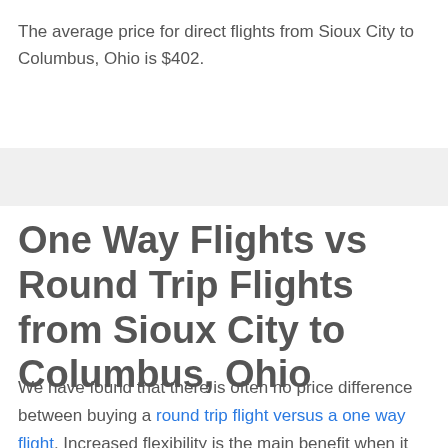The average price for direct flights from Sioux City to Columbus, Ohio is $402.
One Way Flights vs Round Trip Flights from Sioux City to Columbus, Ohio
We have found that there is often no price difference between buying a round trip flight versus a one way flight. Increased flexibility is the main benefit when it comes to buying a one way flight from Sioux City to